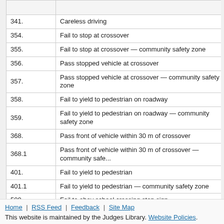|  |  |
| --- | --- |
| 341. | Careless driving |
| 354. | Fail to stop at crossover |
| 355. | Fail to stop at crossover — community safety zone |
| 356. | Pass stopped vehicle at crossover |
| 357. | Pass stopped vehicle at crossover — community safety zone |
| 358. | Fail to yield to pedestrian on roadway |
| 359. | Fail to yield to pedestrian on roadway — community safety zone |
| 368. | Pass front of vehicle within 30 m of crossover |
| 368.1 | Pass front of vehicle within 30 m of crossover — community safe... |
| 401. | Fail to yield to pedestrian |
| 401.1 | Fail to yield to pedestrian — community safety zone |
| 509. | Fail to obey school crossing stop sign |
| 509.1 | Fail to obey school crossing stop sign — community safety zone |
Home | RSS Feed | Feedback | Site Map
This website is maintained by the Judges Library. Website Policies.